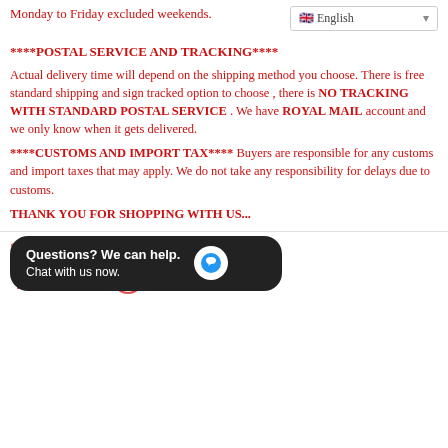Monday to Friday excluded weekends.
****POSTAL SERVICE AND TRACKING****
Actual delivery time will depend on the shipping method you choose. There is free standard shipping and sign tracked option to choose , there is NO TRACKING WITH STANDARD POSTAL SERVICE . We have ROYAL MAIL account and we only know when it gets delivered.
****CUSTOMS AND IMPORT TAX**** Buyers are responsible for any customs and import taxes that may apply. We do not take any responsibility for delays due to customs.
THANK YOU FOR SHOPPING WITH US...
Share
[Figure (other): Social sharing icons: Facebook, Twitter, Pinterest]
[Figure (other): Chat widget: Questions? We can help. Chat with us now.]